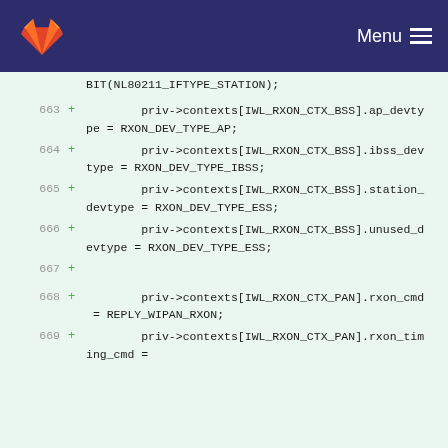Menu
[Figure (screenshot): GitLab fox logo in top-left of navigation header]
BIT(NL80211_IFTYPE_STATION);
663 + priv->contexts[IWL_RXON_CTX_BSS].ap_devtype = RXON_DEV_TYPE_AP;
664 + priv->contexts[IWL_RXON_CTX_BSS].ibss_devtype = RXON_DEV_TYPE_IBSS;
665 + priv->contexts[IWL_RXON_CTX_BSS].station_devtype = RXON_DEV_TYPE_ESS;
666 + priv->contexts[IWL_RXON_CTX_BSS].unused_devtype = RXON_DEV_TYPE_ESS;
667 +
668 + priv->contexts[IWL_RXON_CTX_PAN].rxon_cmd = REPLY_WIPAN_RXON;
669 + priv->contexts[IWL_RXON_CTX_PAN].rxon_timing_cmd =